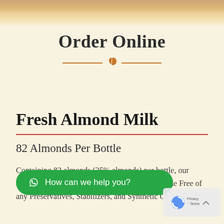[Figure (photo): Top banner image showing baked goods or food items with warm brown tones]
Order Online
[Figure (illustration): Decorative divider with two horizontal lines and an orange leaf icon in the center]
Fresh Almond Milk
82 Almonds Per Bottle
Containing 82 almonds (25% almonds) per bottle, our signature Fresh Gluten Free Almond Milk is made Free of any Preservatives, Stabilizers, and Synthetic Chemicals.